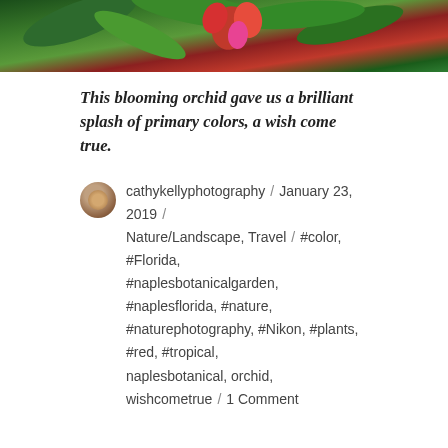[Figure (photo): Top portion of a blooming orchid plant with green leaves and red/pink flowers against a stone background]
This blooming orchid gave us a brilliant splash of primary colors, a wish come true.
cathykellyphotography / January 23, 2019 / Nature/Landscape, Travel / #color, #Florida, #naplesbotanicalgarden, #naplesflorida, #nature, #naturephotography, #Nikon, #plants, #red, #tropical, naplesbotanical, orchid, wishcometrue / 1 Comment
Formation of a Fern
One of the best things about travel to a faraway land is learning about the symbols that derive from the natural environment there. When I